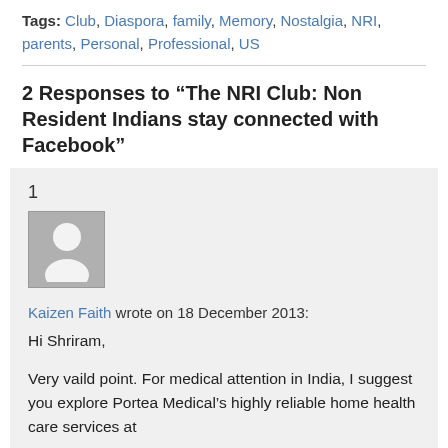Tags: Club, Diaspora, family, Memory, Nostalgia, NRI, parents, Personal, Professional, US
2 Responses to “The NRI Club: Non Resident Indians stay connected with Facebook”
1
[Figure (illustration): Generic user avatar icon — a grey square with a white silhouette of a person]
Kaizen Faith wrote on 18 December 2013:
Hi Shriram,

Very vaild point. For medical attention in India, I suggest you explore Portea Medical’s highly reliable home health care services at